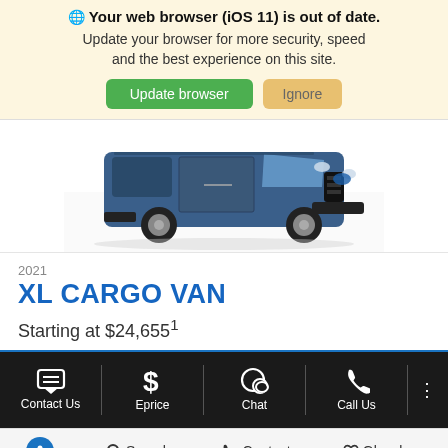Your web browser (iOS 11) is out of date. Update your browser for more security, speed and the best experience on this site. Update browser | Ignore
[Figure (photo): Front view of a 2021 Ford Transit Connect XL Cargo Van in dark blue]
2021
XL CARGO VAN
Starting at $24,6551
Contact Us | Eprice | Chat | Call Us | (more options)
(accessibility) Search Contact Glovebox